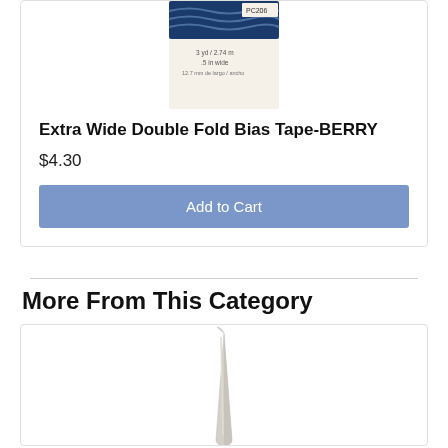[Figure (photo): Product image of Extra Wide Double Fold Bias Tape in Berry color, showing packaging with PC206 label, 3 yd/2.74m, .5 in wide]
Extra Wide Double Fold Bias Tape-BERRY
$4.30
Add to Cart
More From This Category
[Figure (photo): Product image of a bone/pointed tool (likely a seam creaser or bone folder) against white background]